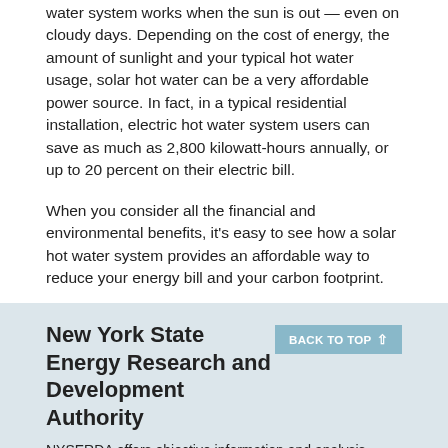water system works when the sun is out — even on cloudy days. Depending on the cost of energy, the amount of sunlight and your typical hot water usage, solar hot water can be a very affordable power source. In fact, in a typical residential installation, electric hot water system users can save as much as 2,800 kilowatt-hours annually, or up to 20 percent on their electric bill.
When you consider all the financial and environmental benefits, it's easy to see how a solar hot water system provides an affordable way to reduce your energy bill and your carbon footprint.
Resources
New York State Energy Research and Development Authority
NYSERDA offers objective information and analysis, innovative programs, technical expertise, and support to help New Yorkers